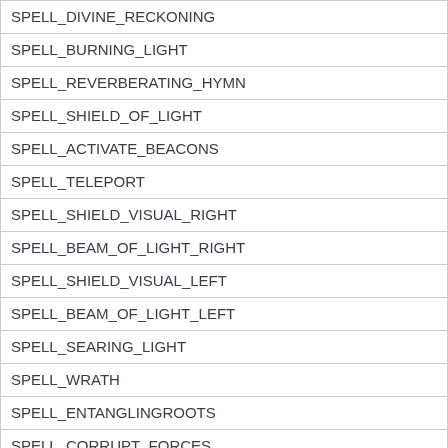| SPELL_DIVINE_RECKONING |
| SPELL_BURNING_LIGHT |
| SPELL_REVERBERATING_HYMN |
| SPELL_SHIELD_OF_LIGHT |
| SPELL_ACTIVATE_BEACONS |
| SPELL_TELEPORT |
| SPELL_SHIELD_VISUAL_RIGHT |
| SPELL_BEAM_OF_LIGHT_RIGHT |
| SPELL_SHIELD_VISUAL_LEFT |
| SPELL_BEAM_OF_LIGHT_LEFT |
| SPELL_SEARING_LIGHT |
| SPELL_WRATH |
| SPELL_ENTANGLINGROOTS |
| SPELL_CORRUPT_FORCES |
| SPELL_KNOCKAWAY |
| SPELL_TRAMPLE |
| SPELL_LANDSLIDE... |